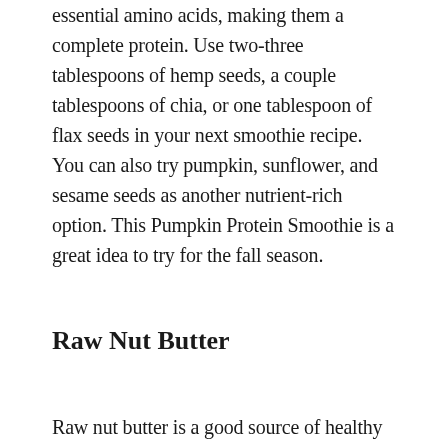essential amino acids, making them a complete protein. Use two-three tablespoons of hemp seeds, a couple tablespoons of chia, or one tablespoon of flax seeds in your next smoothie recipe. You can also try pumpkin, sunflower, and sesame seeds as another nutrient-rich option. This Pumpkin Protein Smoothie is a great idea to try for the fall season.
Raw Nut Butter
Raw nut butter is a good source of healthy fats to keep your metabolism and brain fueled all day long. Raw varieties will be free from salt and oil that roasted and salted nut butters contain, which makes them a bit of a better